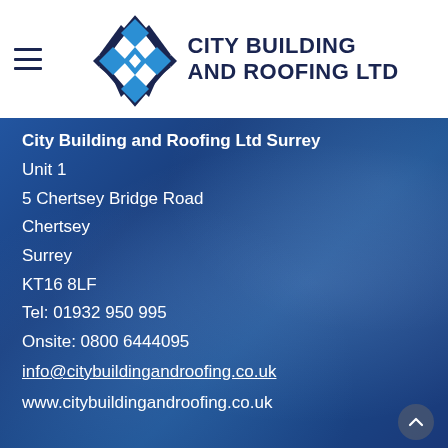[Figure (logo): City Building and Roofing Ltd logo: blue diamond/chevron geometric mark with text 'CITY BUILDING AND ROOFING LTD' in dark navy bold uppercase]
City Building and Roofing Ltd Surrey
Unit 1
5 Chertsey Bridge Road
Chertsey
Surrey
KT16 8LF
Tel: 01932 950 995
Onsite: 0800 6444095
info@citybuildingandroofing.co.uk
www.citybuildingandroofing.co.uk